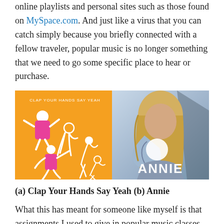online playlists and personal sites such as those found on MySpace.com. And just like a virus that you can catch simply because you briefly connected with a fellow traveler, popular music is no longer something that we need to go some specific place to hear or purchase.
[Figure (photo): Two album covers side by side: (a) Clap Your Hands Say Yeah - orange background with illustrated dancing figures in pink/white; (b) Annie - a blonde woman in a denim jacket holding her arm up to her face, with 'ANNIE' text overlaid]
(a) Clap Your Hands Say Yeah (b) Annie
What this has meant for someone like myself is that assignments I used to give in popular music classes regarding music purchasing no longer have the pedagogical impact that they once did even 5 years ago.